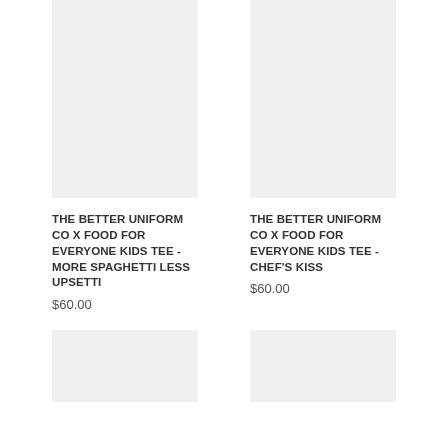[Figure (photo): Product image placeholder for More Spaghetti Less Upsetti kids tee — light gray rectangle]
THE BETTER UNIFORM CO X FOOD FOR EVERYONE KIDS TEE - MORE SPAGHETTI LESS UPSETTI
$60.00
[Figure (photo): Product image placeholder for Chef's Kiss kids tee — light gray rectangle]
THE BETTER UNIFORM CO X FOOD FOR EVERYONE KIDS TEE - CHEF'S KISS
$60.00
[Figure (photo): Product image placeholder bottom left — light gray rectangle, partially visible]
[Figure (photo): Product image placeholder bottom right — light gray rectangle, partially visible]